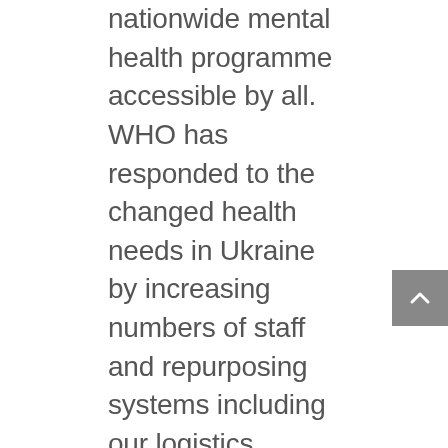nationwide mental health programme accessible by all. WHO has responded to the changed health needs in Ukraine by increasing numbers of staff and repurposing systems including our logistics system. This has enabled delivery of over 543 metric tonnes of medical supplies and equipment to the country which are being distributed mostly in the east, south and northern oblasts where need is currently greatest. Supplies provided include trauma surgery supplies, ambulances, Ukrainian-made ventilators able to continue function even when power fails, electric generators and oxygen equipment including building oxygen plants to help hospitals function autonomously.Another major need is training to deal with the effects of war – trauma surgery, mass casualties, burns and chemical exposure. Since 24 February, WHO has trained more than 1300 healthcare workers on those topics. Along with this,